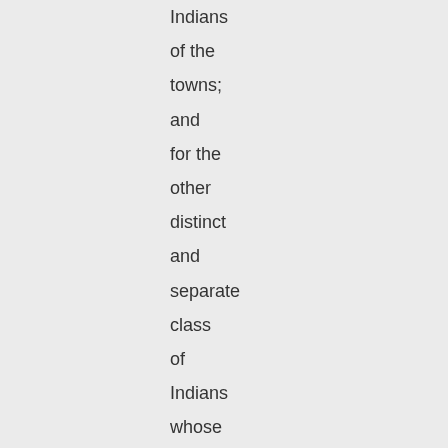Indians of the towns; and for the other distinct and separate class of Indians whose daily occupation was war, robbery, and theft carried on against the pueblo Indians, as well as the Spaniards, the term